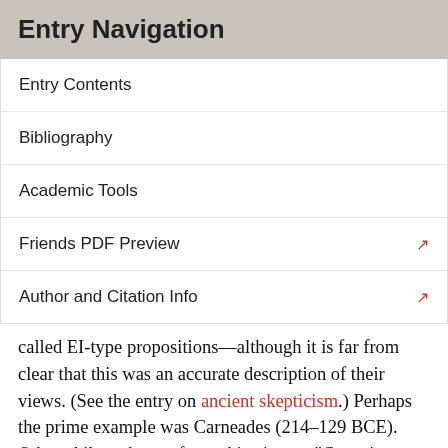Entry Navigation
Entry Contents
Bibliography
Academic Tools
Friends PDF Preview
Author and Citation Info
called EI-type propositions—although it is far from clear that this was an accurate description of their views. (See the entry on ancient skepticism.) Perhaps the prime example was Carneades (214–129 BCE). Other philosophers refer to this view as “Cartesian skepticism” because of the skeptical arguments investigated by Descartes and his critics in the mid-17th century. And still others refer to it as “switched world skepticism” or “possible world skepticism” because the arguments for it typically involve imagining oneself to be in some possible world that is both vastly different from the actual world